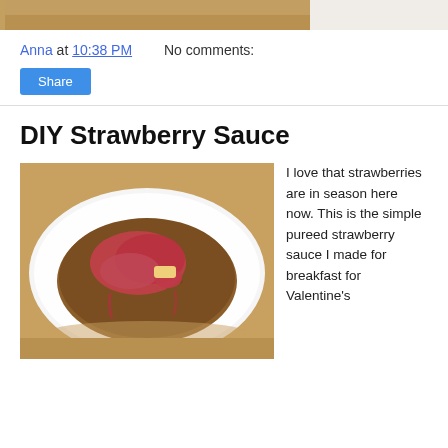[Figure (photo): Top portion of a food photo, cropped — shows what appears to be a brown/golden background, likely food on a wooden surface.]
Anna at 10:38 PM   No comments:
Share
DIY Strawberry Sauce
[Figure (photo): A pancake topped with red strawberry sauce and a pat of butter, served on a white plate on a wooden surface.]
I love that strawberries are in season here now. This is the simple pureed strawberry sauce I made for breakfast for Valentine's